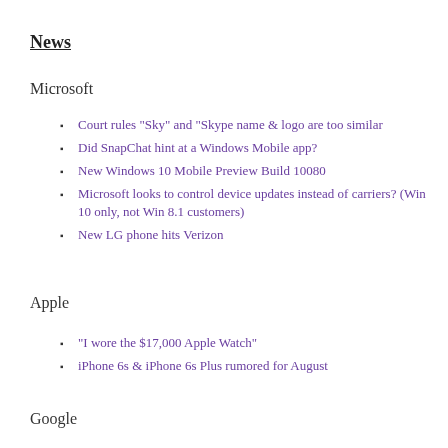News
Microsoft
Court rules "Sky" and "Skype name & logo are too similar
Did SnapChat hint at a Windows Mobile app?
New Windows 10 Mobile Preview Build 10080
Microsoft looks to control device updates instead of carriers? (Win 10 only, not Win 8.1 customers)
New LG phone hits Verizon
Apple
"I wore the $17,000 Apple Watch"
iPhone 6s & iPhone 6s Plus rumored for August
Google